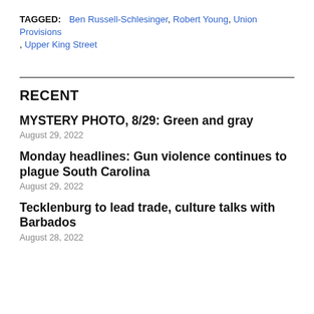TAGGED: Ben Russell-Schlesinger, Robert Young, Union Provisions, Upper King Street
RECENT
MYSTERY PHOTO, 8/29: Green and gray
August 29, 2022
Monday headlines: Gun violence continues to plague South Carolina
August 29, 2022
Tecklenburg to lead trade, culture talks with Barbados
August 28, 2022